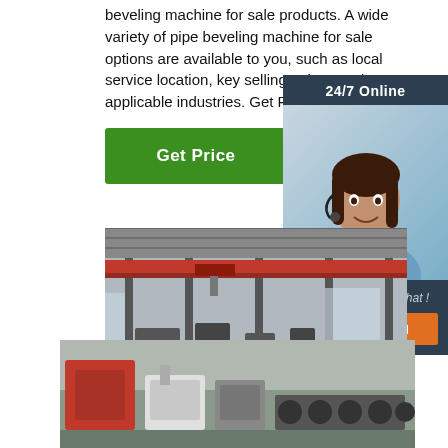beveling machine for sale products. A wide variety of pipe beveling machine for sale options are available to you, such as local service location, key selling points, and applicable industries. Get Price
Get Price
24/7 Online
[Figure (photo): Customer service representative with headset smiling]
Click here for free chat !
QUOTATION
[Figure (photo): Factory interior with overhead red crane and industrial machinery]
[Figure (photo): Factory floor with pipe beveling machines and industrial equipment]